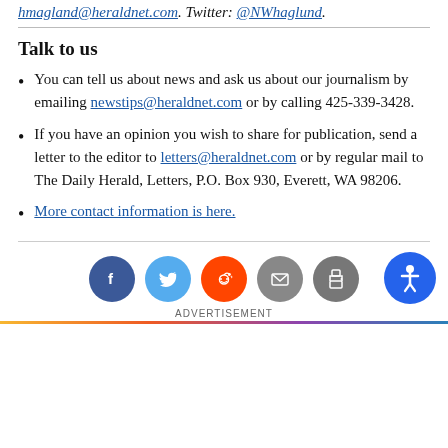hmagland@heraldnet.com. Twitter: @NWhaglund.
Talk to us
You can tell us about news and ask us about our journalism by emailing newstips@heraldnet.com or by calling 425-339-3428.
If you have an opinion you wish to share for publication, send a letter to the editor to letters@heraldnet.com or by regular mail to The Daily Herald, Letters, P.O. Box 930, Everett, WA 98206.
More contact information is here.
[Figure (infographic): Social sharing icons: Facebook (blue), Twitter (light blue), Reddit (orange), Email (gray), Print (gray), and an accessibility button (blue circle with person icon) on the right.]
ADVERTISEMENT